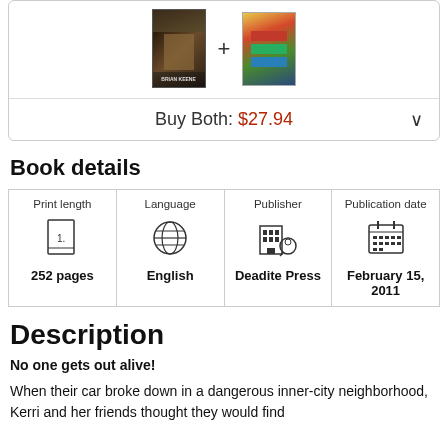[Figure (illustration): Two book covers side by side with a plus sign between them. Left cover is dark with 'BRIAN KEENE' text. Right cover is colorful.]
Buy Both: $27.94
Book details
| Print length | Language | Publisher | Publication date |
| --- | --- | --- | --- |
| 252 pages | English | Deadite Press | February 15, 2011 |
Description
No one gets out alive!
When their car broke down in a dangerous inner-city neighborhood, Kerri and her friends thought they would find